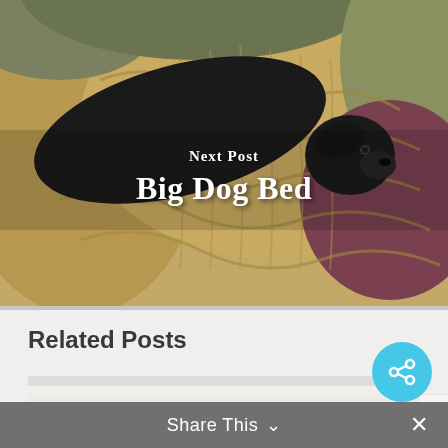[Figure (photo): A black dog resting on tan/brown corduroy pillows and blankets, shown from above]
Next Post
Big Dog Bed
Related Posts
[Figure (photo): Related post card placeholder image area]
Share This ˅  ✕